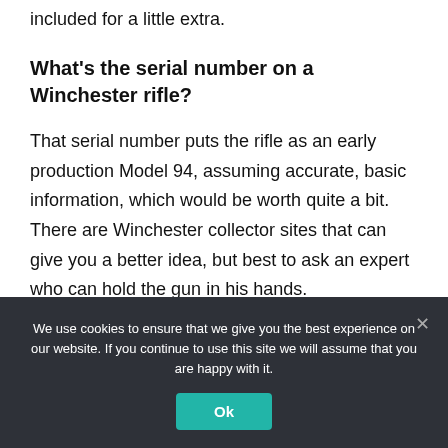included for a little extra.
What's the serial number on a Winchester rifle?
That serial number puts the rifle as an early production Model 94, assuming accurate, basic information, which would be worth quite a bit. There are Winchester collector sites that can give you a better idea, but best to ask an expert who can hold the gun in his hands.
We use cookies to ensure that we give you the best experience on our website. If you continue to use this site we will assume that you are happy with it.